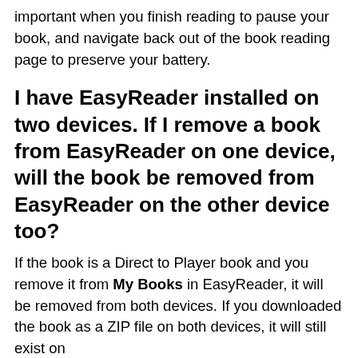important when you finish reading to pause your book, and navigate back out of the book reading page to preserve your battery.
I have EasyReader installed on two devices. If I remove a book from EasyReader on one device, will the book be removed from EasyReader on the other device too?
If the book is a Direct to Player book and you remove it from My Books in EasyReader, it will be removed from both devices. If you downloaded the book as a ZIP file on both devices, it will still exist on